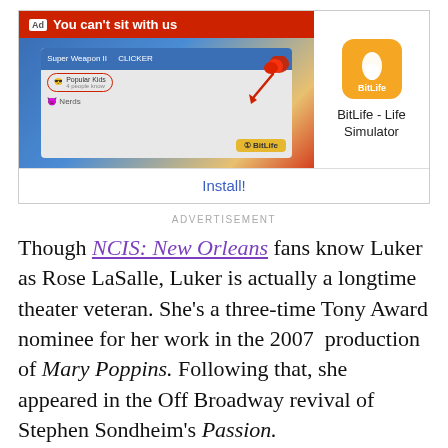[Figure (screenshot): BitLife Life Simulator advertisement banner with red header saying 'You can't sit with us', app screenshot showing game UI, BitLife app icon, and Install button]
ADVERTISEMENT
Though NCIS: New Orleans fans know Luker as Rose LaSalle, Luker is actually a longtime theater veteran. She's a three-time Tony Award nominee for her work in the 2007 production of Mary Poppins. Following that, she appeared in the Off Broadway revival of Stephen Sondheim's Passion.
According to IMDb, Luker "is the first singer-actress to ever be nominated for a Tony Award